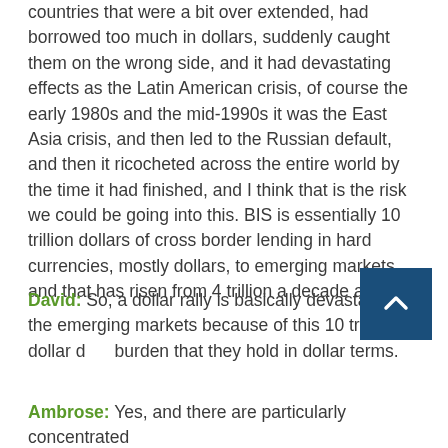countries that were a bit over extended, had borrowed too much in dollars, suddenly caught them on the wrong side, and it had devastating effects as the Latin American crisis, of course the early 1980s and the mid-1990s it was the East Asia crisis, and then led to the Russian default, and then it ricocheted across the entire world by the time it had finished, and I think that is the risk we could be going into this. BIS is essentially 10 trillion dollars of cross border lending in hard currencies, mostly dollars, to emerging markets and that has risen from 4 trillion a decade ago.
David: So, a dollar rally is basically devastating to the emerging markets because of this 10 trillion dollar debt burden that they hold in dollar terms.
Ambrose: Yes, and there are particularly concentrated